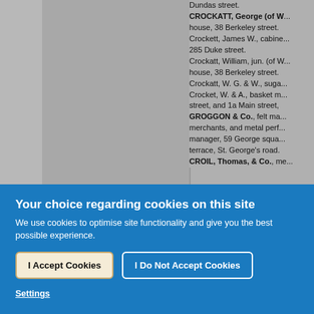Dundas street. CROCKATT, George (of W... house, 38 Berkeley street. Crockett, James W., cabinet... 285 Duke street. Crockatt, William, jun. (of W... house, 38 Berkeley street. Crockatt, W. G. & W., suga... Crocket, W. & A., basket m... street, and 1a Main street, GROGGON & Co., felt ma... merchants, and metal perf... manager, 59 George squa... terrace, St. George's road. CROIL, Thomas, & Co., me...
Your choice regarding cookies on this site
We use cookies to optimise site functionality and give you the best possible experience.
I Accept Cookies
I Do Not Accept Cookies
Settings